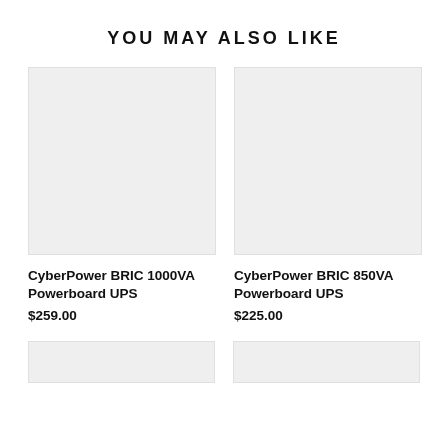YOU MAY ALSO LIKE
[Figure (photo): Light gray placeholder image for CyberPower BRIC 1000VA Powerboard UPS product]
CyberPower BRIC 1000VA Powerboard UPS
$259.00
[Figure (photo): Light gray placeholder image for CyberPower BRIC 850VA Powerboard UPS product]
CyberPower BRIC 850VA Powerboard UPS
$225.00
[Figure (photo): Light gray placeholder image for a third product (partially visible at bottom)]
[Figure (photo): Light gray placeholder image for a fourth product (partially visible at bottom)]